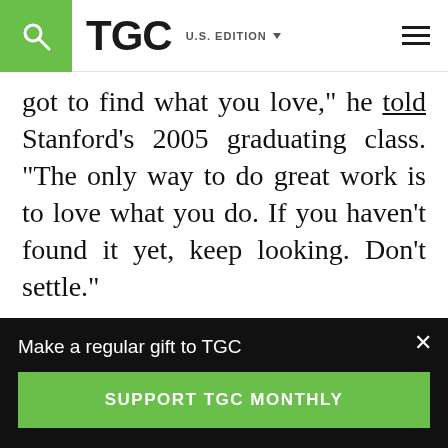TGC — U.S. EDITION
got to find what you love,” he told Stanford’s 2005 graduating class. “The only way to do great work is to love what you do. If you haven’t found it yet, keep looking. Don’t settle.”
Recently, though, an occupational counselor argued for a life beyond Jobs’s career advice. In The New York Times, Gordon Marino wrote, “Our desires should not be the ultimate…
Make a regular gift to TGC
SUPPORT TGC MONTHLY